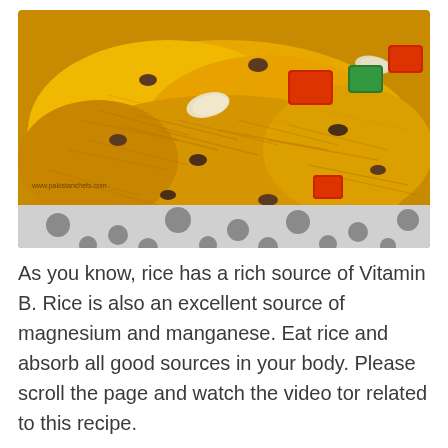[Figure (photo): Close-up photo of yellow/saffron rice (biryani) dish with colorful toppings including red and green candied fruits, almonds/cashews, and raisins, served on a white polka-dot plate. Watermark reads www.pakistanchefs.com]
As you know, rice has a rich source of Vitamin B. Rice is also an excellent source of magnesium and manganese. Eat rice and absorb all good sources in your body. Please scroll the page and watch the video tor related to this recipe.